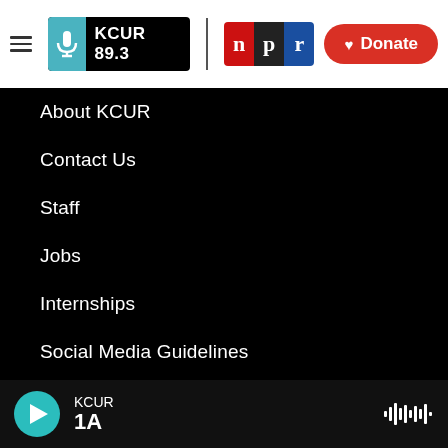[Figure (logo): KCUR 89.3 and NPR logos with hamburger menu and Donate button in white header bar]
About KCUR
Contact Us
Staff
Jobs
Internships
Social Media Guidelines
Code of Ethics
Governance
KCUR 1A